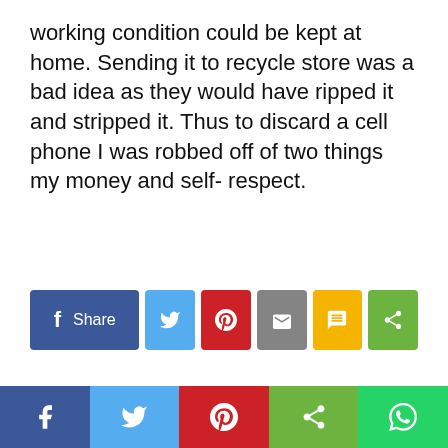working condition could be kept at home. Sending it to recycle store was a bad idea as they would have ripped it and stripped it. Thus to discard a cell phone I was robbed off of two things my money and self- respect.
[Figure (screenshot): Social share buttons row: Facebook Share, Twitter, Pinterest, Email, SMS, ShareThis]
[Figure (screenshot): Bottom fixed social share bar: Facebook, Twitter, Pinterest, ShareThis, WhatsApp]